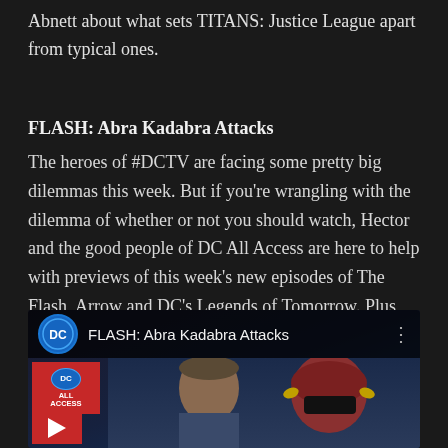Abnett about what sets TITANS: Justice League apart from typical ones.
FLASH: Abra Kadabra Attacks
The heroes of #DCTV are facing some pretty big dilemmas this week. But if you're wrangling with the dilemma of whether or not you should watch, Hector and the good people of DC All Access are here to help with previews of this week's new episodes of The Flash, Arrow and DC's Legends of Tomorrow. Plus, we talk singing super heroes in response to last week's Flash/Supergirl musical. But don't worry, we don't do any singing ourselves.
[Figure (screenshot): YouTube video thumbnail for 'FLASH: Abra Kadabra Attacks' featuring DC logo, DC All Access branding in red, and two characters' faces (a man and The Flash in costume)]